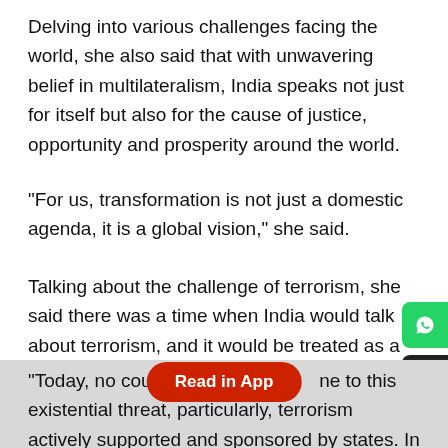Delving into various challenges facing the world, she also said that with unwavering belief in multilateralism, India speaks not just for itself but also for the cause of justice, opportunity and prosperity around the world.
"For us, transformation is not just a domestic agenda, it is a global vision," she said.
Talking about the challenge of terrorism, she said there was a time when India would talk about terrorism, and it would be treated as a law and order issue on many global platforms.
"Today, no country, big or small, can be immune to this existential threat, particularly, terrorism actively supported and sponsored by states. In this digital age, the challenge is even greater, with a greater vulnerability to radicalisation," she said, in presence of foreign ministers of several countries including Iran.